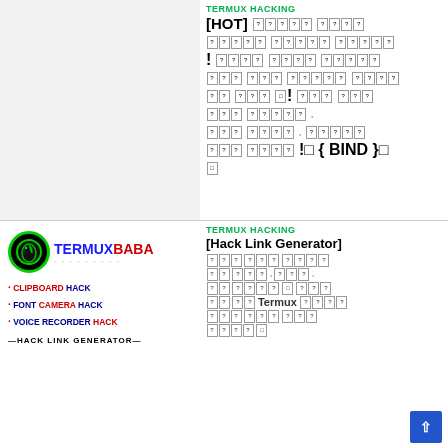[Figure (screenshot): Light grey placeholder image on the top-left]
TERMUX HACKING
[HOT] followed by rows of question mark boxes representing encoded/unrendered text content ending with { BIND }
[Figure (logo): Termux Baba logo with green circle, snake icon, and brand name TERMUXBABA in blue and red]
· CLIPBOARD HACK
· FONT CAMERA HACK
· VOICE RECORDER HACK
—HACK LINK GENERATOR—
TERMUX HACKING
[Hack Link Generator] followed by rows of question mark boxes with Termux text visible